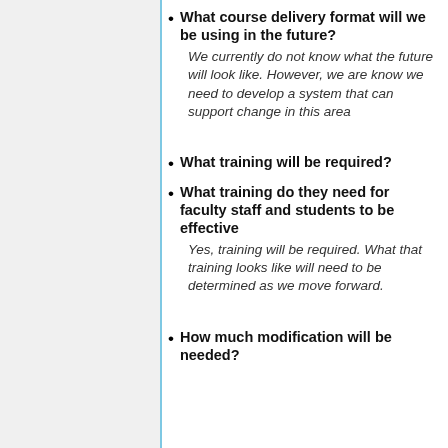What course delivery format will we be using in the future?
We currently do not know what the future will look like. However, we are know we need to develop a system that can support change in this area
What training will be required?
What training do they need for faculty staff and students to be effective
Yes, training will be required. What that training looks like will need to be determined as we move forward.
How much modification will be needed?